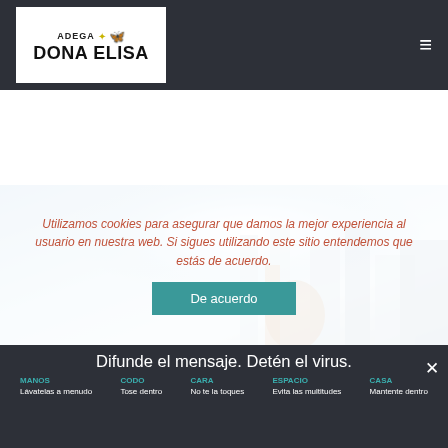[Figure (logo): Adega Dona Elisa logo — white box with dots, butterfly icon, and bold text 'ADEGA DONA ELISA']
[Figure (screenshot): Website screenshot — navigation header with logo and hamburger menu on dark background, hero image of building with light rays, cookie consent overlay with teal button, and bottom dark bar with COVID message]
Utilizamos cookies para asegurar que damos la mejor experiencia al usuario en nuestra web. Si sigues utilizando este sitio entendemos que estás de acuerdo.
De acuerdo
Difunde el mensaje. Detén el virus.
MANOS
Lávatelas a menudo
CODO
Tose dentro
CARA
No te la toques
ESPACIO
Evita las multitudes
CASA
Mantente dentro